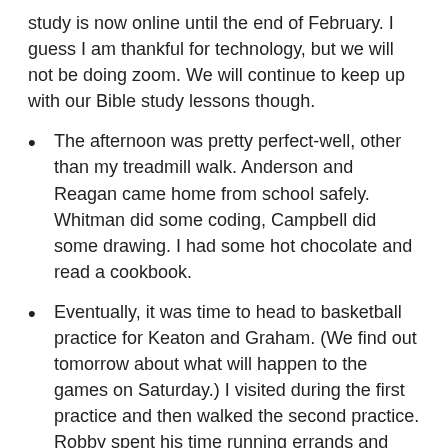study is now online until the end of February. I guess I am thankful for technology, but we will not be doing zoom. We will continue to keep up with our Bible study lessons though.
The afternoon was pretty perfect-well, other than my treadmill walk. Anderson and Reagan came home from school safely. Whitman did some coding, Campbell did some drawing. I had some hot chocolate and read a cookbook.
Eventually, it was time to head to basketball practice for Keaton and Graham. (We find out tomorrow about what will happen to the games on Saturday.) I visited during the first practice and then walked the second practice. Robby spent his time running errands and picking up our supper.
Robby and the kids made my birthday pretty great today. After eating, we opened presents-just about everyone had something for me. Keaton had even made my lunch today and cleaned the kitchen some.